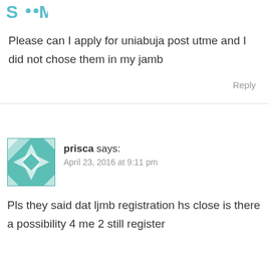[Figure (logo): Small teal/blue social avatar icon with letter-like shapes]
Please can I apply for uniabuja post utme and I did not chose them in my jamb
Reply
[Figure (illustration): Teal and white geometric quilt-pattern avatar for user prisca]
prisca says: April 23, 2016 at 9:11 pm
Pls they said dat ljmb registration hs close is there a possibility 4 me 2 still register